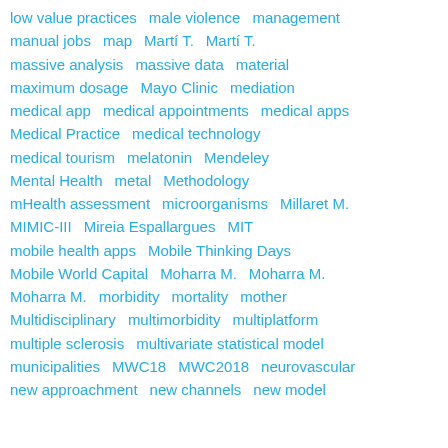low value practices   male violence   management
manual jobs   map   Martí T.   Martí T.
massive analysis   massive data   material
maximum dosage   Mayo Clinic   mediation
medical app   medical appointments   medical apps
Medical Practice   medical technology
medical tourism   melatonin   Mendeley
Mental Health   metal   Methodology
mHealth assessment   microorganisms   Millaret M.
MIMIC-III   Mireia Espallargues   MIT
mobile health apps   Mobile Thinking Days
Mobile World Capital   Moharra M.   Moharra M.
Moharra M.   morbidity   mortality   mother
Multidisciplinary   multimorbidity   multiplatform
multiple sclerosis   multivariate statistical model
municipalities   MWC18   MWC2018   neurovascular
new approachment   new channels   new model